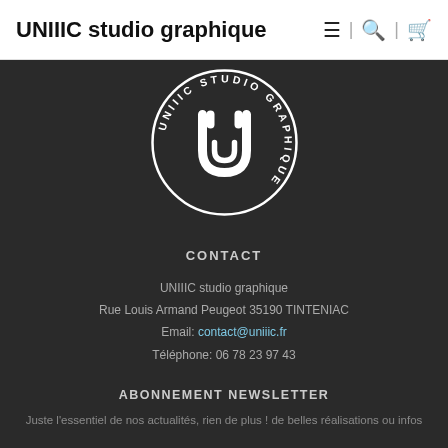UNIIIC studio graphique
[Figure (logo): UNIIIC studio graphique circular logo in white on dark background, with stylized U and i letters in center and text around the circle]
CONTACT
UNIIIC studio graphique
Rue Louis Armand Peugeot 35190 TINTENIAC
Email: contact@uniiic.fr
Téléphone: 06 78 23 97 43
ABONNEMENT NEWSLETTER
Juste l'essentiel de nos actualités, rien de plus ! de belles réalisations ou infos